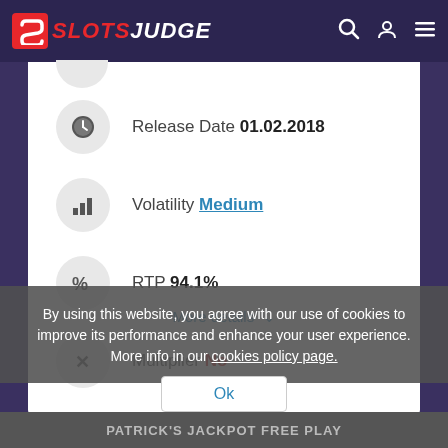SLOTS JUDGE
Release Date  01.02.2018
Volatility  Medium
RTP  94.1%
Multiplier  No
More details
By using this website, you agree with our use of cookies to improve its performance and enhance your user experience. More info in our cookies policy page.
Ok
PATRICK'S JACKPOT FREE PLAY